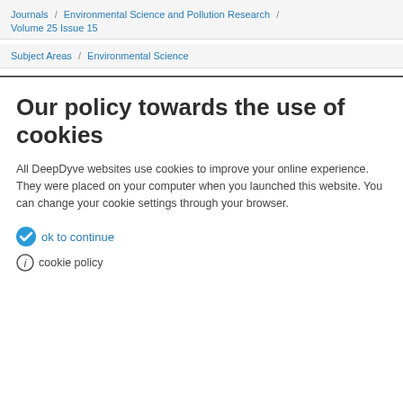Journals / Environmental Science and Pollution Research / Volume 25 Issue 15
Subject Areas / Environmental Science
Our policy towards the use of cookies
All DeepDyve websites use cookies to improve your online experience. They were placed on your computer when you launched this website. You can change your cookie settings through your browser.
ok to continue
cookie policy